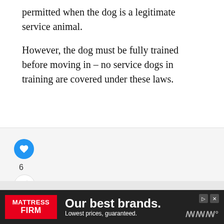permitted when the dog is a legitimate service animal.
However, the dog must be fully trained before moving in – no service dogs in training are covered under these laws.
[Figure (screenshot): Social interaction widget with like button (blue heart icon), like count of 6, and share button on a light gray background]
[Figure (infographic): What's Next card showing 'Do Belgian Malinois...' with a small dog breed illustration on white card with blue border]
[Figure (screenshot): Mattress Firm advertisement banner with red logo, text 'Our best brands. Lowest prices, guaranteed.' on dark background]